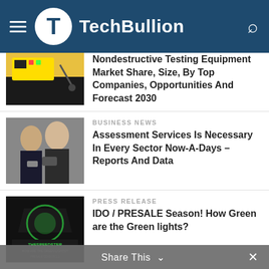TechBullion
[Figure (photo): Yellow electronic testing equipment device held by hand]
Nondestructive Testing Equipment Market Share, Size, By Top Companies, Opportunities And Forecast 2030
[Figure (photo): Business people in suits looking at phone]
BUSINESS NEWS
Assessment Services Is Necessary In Every Sector Now-A-Days – Reports And Data
[Figure (photo): Dark graphic with green circle and TheSpeedster text]
PRESS RELEASE
IDO / PRESALE Season! How Green are the Green lights?
[Figure (photo): Green grid of white cube-like objects]
BLOCKCHAIN
What to Look For in a Decentralized Oracle
Share This  ×